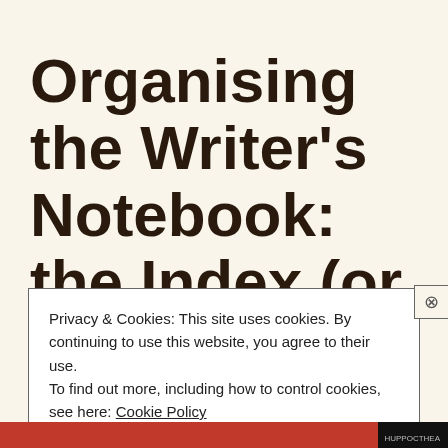Organising the Writer's Notebook: the Index (or Table of Contents)
Privacy & Cookies: This site uses cookies. By continuing to use this website, you agree to their use. To find out more, including how to control cookies, see here: Cookie Policy
Close and accept